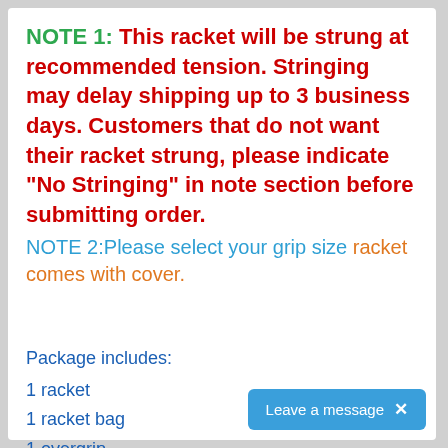NOTE 1: This racket will be strung at recommended tension. Stringing may delay shipping up to 3 business days. Customers that do not want their racket strung, please indicate "No Stringing" in note section before submitting order.
NOTE 2:Please select your grip size racket comes with cover.
Package includes:
1 racket
1 racket bag
1 overgrip